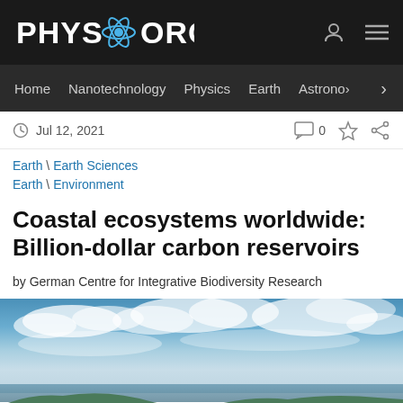PHYS.ORG
Home | Nanotechnology | Physics | Earth | Astronomy >
Jul 12, 2021
Earth \ Earth Sciences
Earth \ Environment
Coastal ecosystems worldwide: Billion-dollar carbon reservoirs
by German Centre for Integrative Biodiversity Research
[Figure (photo): Coastal landscape photo showing ocean, sky with clouds, and rocky coastline with green hills in the foreground]